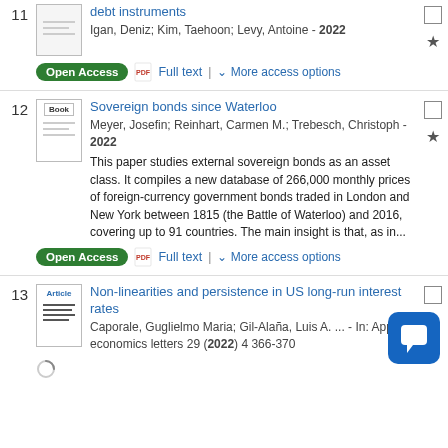11 [thumbnail] [title truncated] debt instruments — Igan, Deniz; Kim, Taehoon; Levy, Antoine - 2022 | Open Access | Full text | More access options
12 Book — Sovereign bonds since Waterloo — Meyer, Josefin; Reinhart, Carmen M.; Trebesch, Christoph - 2022 — This paper studies external sovereign bonds as an asset class. It compiles a new database of 266,000 monthly prices of foreign-currency government bonds traded in London and New York between 1815 (the Battle of Waterloo) and 2016, covering up to 91 countries. The main insight is that, as in... | Open Access | Full text | More access options
13 Article — Non-linearities and persistence in US long-run interest rates — Caporale, Guglielmo Maria; Gil-Alaña, Luis A. ... - In: Applied economics letters 29 (2022) 4 366-370